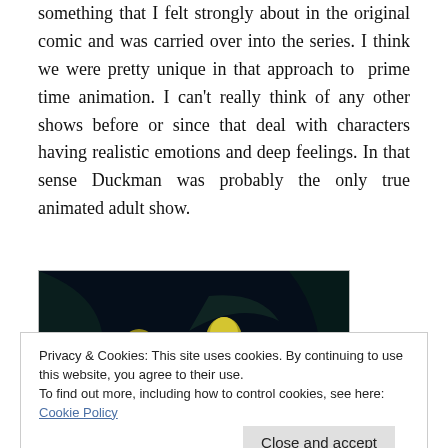something that I felt strongly about in the original comic and was carried over into the series. I think we were pretty unique in that approach to prime time animation. I can't really think of any other shows before or since that deal with characters having realistic emotions and deep feelings. In that sense Duckman was probably the only true animated adult show.
[Figure (photo): Dark animation still showing cartoon character in dark colors with black background, appearing to be from the Duckman animated series]
Privacy & Cookies: This site uses cookies. By continuing to use this website, you agree to their use.
To find out more, including how to control cookies, see here: Cookie Policy
Duckman and Cornfed's final designs.